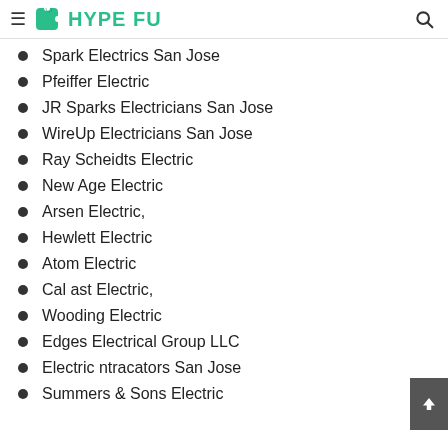HYPE FU
Spark Electrics San Jose
Pfeiffer Electric
JR Sparks Electricians San Jose
WireUp Electricians San Jose
Ray Scheidts Electric
New Age Electric
Arsen Electric,
Hewlett Electric
Atom Electric
Cal ast Electric,
Wooding Electric
Edges Electrical Group LLC
Electric ntracators San Jose
Summers & Sons Electric